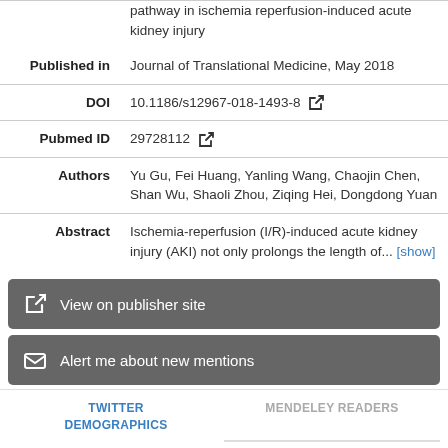| Published in | Journal of Translational Medicine, May 2018 |
| DOI | 10.1186/s12967-018-1493-8 [external link] |
| Pubmed ID | 29728112 [external link] |
| Authors | Yu Gu, Fei Huang, Yanling Wang, Chaojin Chen, Shan Wu, Shaoli Zhou, Ziqing Hei, Dongdong Yuan |
| Abstract | Ischemia-reperfusion (I/R)-induced acute kidney injury (AKI) not only prolongs the length of... [show] |
View on publisher site
Alert me about new mentions
TWITTER DEMOGRAPHICS
MENDELEY READERS